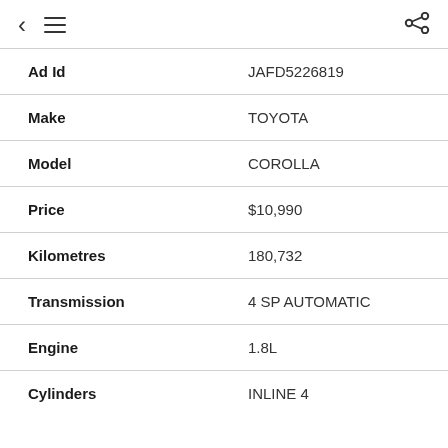< ≡  share
| Field | Value |
| --- | --- |
| Ad Id | JAFD5226819 |
| Make | TOYOTA |
| Model | COROLLA |
| Price | $10,990 |
| Kilometres | 180,732 |
| Transmission | 4 SP AUTOMATIC |
| Engine | 1.8L |
| Cylinders | INLINE 4 |